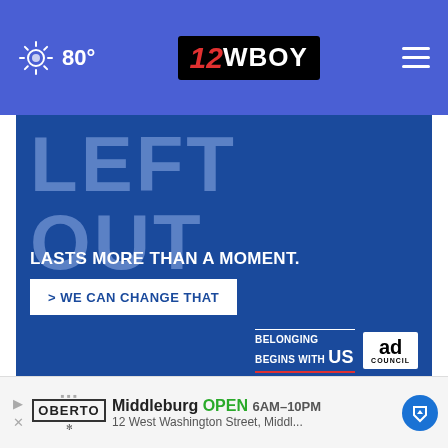12WBOY | 80°
[Figure (screenshot): Advertisement banner: LEFT OUT LASTS MORE THAN A MOMENT. > WE CAN CHANGE THAT. Belonging Begins With US / Ad Council logos on blue background.]
Current 80° | Tonight 61° | Tomorrow 88°
[Figure (screenshot): Bottom ad bar: Oberto — Middleburg OPEN 6AM-10PM, 12 West Washington Street, Middl...]